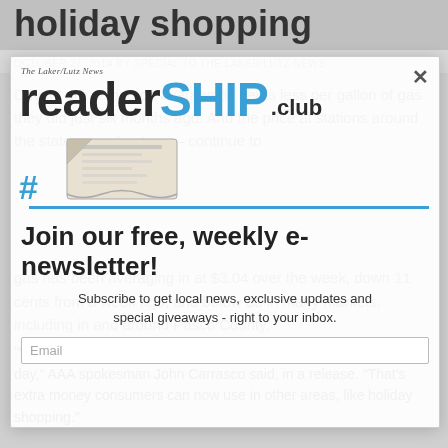holiday shopping
OCTOBER 27, 2014 BY SPECIAL TO THE LAKER/LUTZ NEWS
Drivers are paying on average 65 cents less per gallon of gas they did just six months ago. And the price at stations around the state — and nation — continue to
[Figure (logo): The Laker/Lutz News readerSHIP club logo with newspaper illustration and hashtag symbol, in dark gray and blue colors]
gas has been averaging in at $3.04 over the week, down 11 cents from a week ago, and below $3 in many markets, including in and around Pasco County.
Join our free, weekly e-newsletter!
Subscribe to get local news, exclusive updates and special giveaways - right to your inbox.
Email
"We are seeing gas prices falling at an average of 1 to 2 cents a day," AAA spokesman John Carrasco said, in a release. "That's extra money consumers can now use in other areas, like holiday shopping."